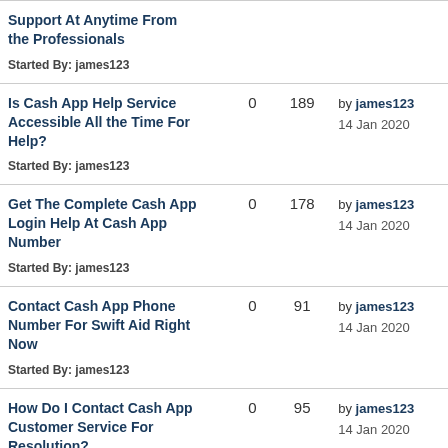| Topic | Replies | Views | Last Post |
| --- | --- | --- | --- |
| Support At Anytime From the Professionals
Started By: james123 |  |  |  |
| Is Cash App Help Service Accessible All the Time For Help?
Started By: james123 | 0 | 189 | by james123 14 Jan 2020 |
| Get The Complete Cash App Login Help At Cash App Number
Started By: james123 | 0 | 178 | by james123 14 Jan 2020 |
| Contact Cash App Phone Number For Swift Aid Right Now
Started By: james123 | 0 | 91 | by james123 14 Jan 2020 |
| How Do I Contact Cash App Customer Service For Resolution?
Started By: james123 | 0 | 95 | by james123 14 Jan 2020 |
| Safeguard Your Confidential ...
Started By: james123 | 0 | 178 | by james123 28 Dec 2019 |